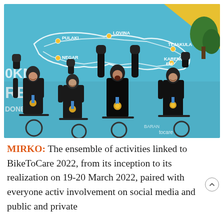[Figure (photo): Four cyclists in black jerseys and helmets with gold medals, arms raised in celebration, standing with bicycles in front of a blue banner showing a map of Bali with location markers (PULAKI, LOVINA, TEJAKULA, KARENG EM, NEGAR) and route lines, with text showing 0KM and partial text RE, DONE. The banner appears to be for a BikeToCare cycling event in Indonesia.]
MIRKO: The ensemble of activities linked to BikeToCare 2022, from its inception to its realization on 19-20 March 2022, paired with everyone activ involvement on social media and public and private